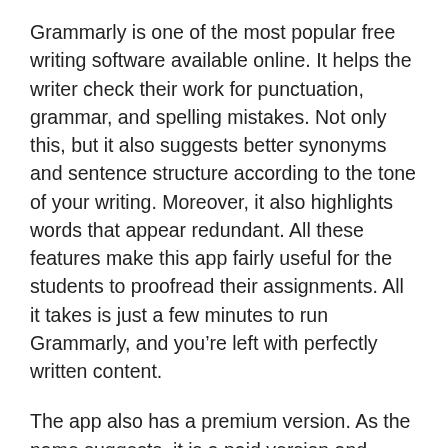Grammarly is one of the most popular free writing software available online. It helps the writer check their work for punctuation, grammar, and spelling mistakes. Not only this, but it also suggests better synonyms and sentence structure according to the tone of your writing. Moreover, it also highlights words that appear redundant. All these features make this app fairly useful for the students to proofread their assignments. All it takes is just a few minutes to run Grammarly, and you’re left with perfectly written content.
The app also has a premium version. As the name suggests, it is a paid version and offers more features such as reducing passive voice and monotonous sentences. This version is great for those whose first language is not English.
Many international students lose their precious marks because of some language mistakes in their assignments. They find it hard to expand on their ideas and write complex sentences. Are you in the same boat? If you…